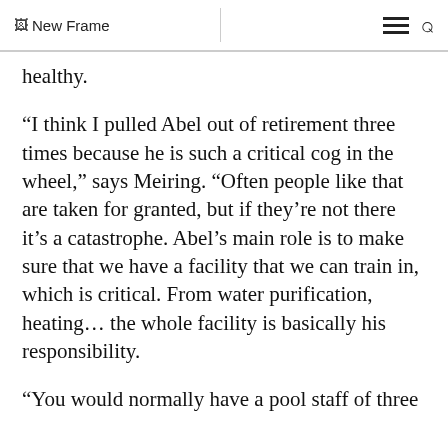New Frame
healthy.
“I think I pulled Abel out of retirement three times because he is such a critical cog in the wheel,” says Meiring. “Often people like that are taken for granted, but if they’re not there it’s a catastrophe. Abel’s main role is to make sure that we have a facility that we can train in, which is critical. From water purification, heating… the whole facility is basically his responsibility.
“You would normally have a pool staff of three